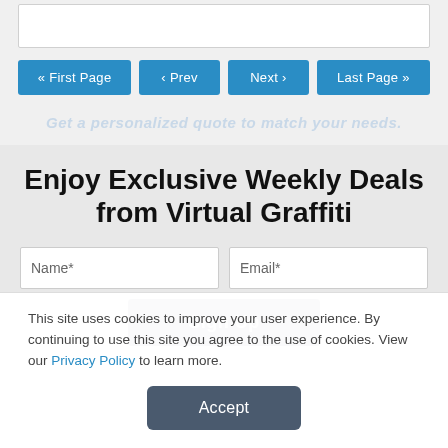[Figure (screenshot): Top white content panel area (partially visible)]
« First Page
‹ Prev
Next ›
Last Page »
Get a personalized quote to match your needs.
Enjoy Exclusive Weekly Deals from Virtual Graffiti
Name*
Email*
Sign Up
This site uses cookies to improve your user experience. By continuing to use this site you agree to the use of cookies. View our Privacy Policy to learn more.
Accept